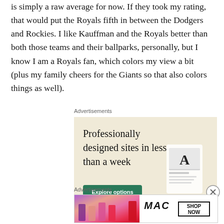is simply a raw average for now. If they took my rating, that would put the Royals fifth in between the Dodgers and Rockies. I like Kauffman and the Royals better than both those teams and their ballparks, personally, but I know I am a Royals fan, which colors my view a bit (plus my family cheers for the Giants so that also colors things as well).
Advertisements
[Figure (illustration): Advertisement banner with beige background: 'Professionally designed sites in less than a week' with a green 'Explore options' button and a device mockup image on the right.]
Advertisements
[Figure (illustration): MAC Cosmetics advertisement showing colorful lipsticks on the left, MAC logo in italic, and a 'SHOP NOW' box on the right.]